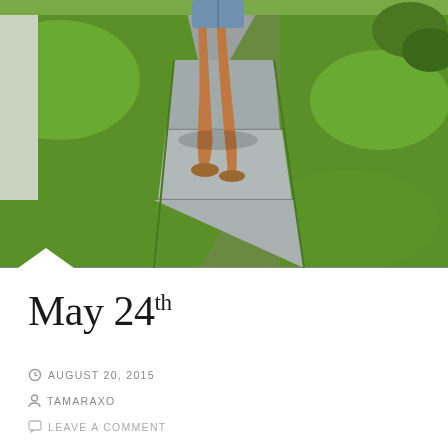[Figure (photo): Outdoor photo of a person's legs walking on a stone pathway flanked by green grass. The person is wearing denim shorts and sandals. The path consists of large concrete/stone slabs set into the lawn.]
May 24th
AUGUST 20, 2015
TAMARAXO
LEAVE A COMMENT